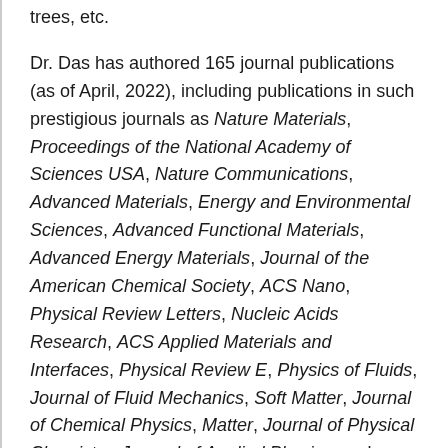trees, etc.
Dr. Das has authored 165 journal publications (as of April, 2022), including publications in such prestigious journals as Nature Materials, Proceedings of the National Academy of Sciences USA, Nature Communications, Advanced Materials, Energy and Environmental Sciences, Advanced Functional Materials, Advanced Energy Materials, Journal of the American Chemical Society, ACS Nano, Physical Review Letters, Nucleic Acids Research, ACS Applied Materials and Interfaces, Physical Review E, Physics of Fluids, Journal of Fluid Mechanics, Soft Matter, Journal of Chemical Physics, Matter, Journal of Physical Chemistry, Journal of Applied Physics, and Scientific Reports.